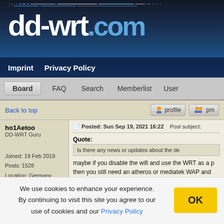dd-wrt.com
Imprint
Privacy Policy
Board | FAQ | Search | Memberlist | User
Back to top
profile   pm
ho1Aetoo
DD-WRT Guru
Joined: 19 Feb 2019
Posts: 1528
Location: Germany
Posted: Sun Sep 19, 2021 16:22   Post subject:
Quote:
Is there any news or updates about the de
maybe if you disable the wifi and use the WRT as a p
then you still need an atheros or mediatek WAP and
We use cookies to enhance your experience. By continuing to visit this site you agree to our use of cookies and our Privacy Policy